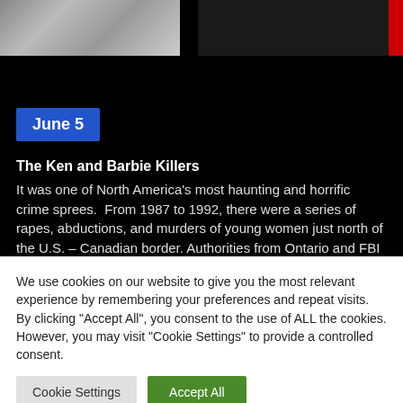[Figure (photo): Photos of two people at top of a dark web page, with a TV news overlay showing '08 NOV 95' on the right side]
June 5
The Ken and Barbie Killers
It was one of North America's most haunting and horrific crime sprees.  From 1987 to 1992, there were a series of rapes, abductions, and murders of young women just north of the U.S. – Canadian border. Authorities from Ontario and FBI profilers from the United States joined forces to try and capture the monster responsible, but for more than
We use cookies on our website to give you the most relevant experience by remembering your preferences and repeat visits. By clicking "Accept All", you consent to the use of ALL the cookies. However, you may visit "Cookie Settings" to provide a controlled consent.
Cookie Settings
Accept All